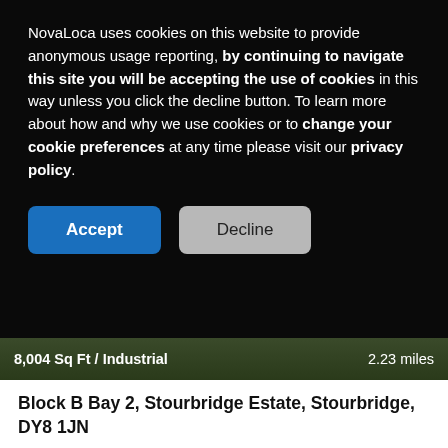NovaLoca uses cookies on this website to provide anonymous usage reporting, by continuing to navigate this site you will be accepting the use of cookies in this way unless you click the decline button. To learn more about how and why we use cookies or to change your cookie preferences at any time please visit our privacy policy.
[Figure (screenshot): Cookie consent banner with Accept and Decline buttons on dark background]
8,004 Sq Ft / Industrial  2.23 miles
Block B Bay 2, Stourbridge Estate, Stourbridge, DY8 1JN
TO LET
[Figure (screenshot): More button with red border and up arrow button]